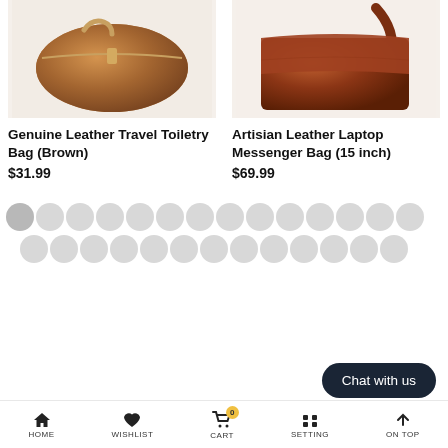[Figure (photo): Genuine leather travel toiletry bag in brown color, top view showing zipper]
[Figure (photo): Artisan leather laptop messenger bag in dark brown, showing shoulder strap]
Genuine Leather Travel Toiletry Bag (Brown)
$31.99
Artisian Leather Laptop Messenger Bag (15 inch)
$69.99
[Figure (infographic): Loading dots pattern - two rows of grey circles indicating loading state]
Chat with us
HOME  WISHLIST  CART  SETTING  ON TOP